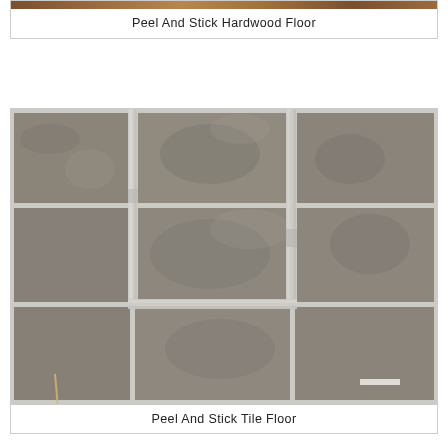[Figure (photo): Partial view of peel and stick hardwood floor]
Peel And Stick Hardwood Floor
[Figure (photo): Peel and stick tile floor showing grout lines forming a cross/rectangle pattern on grey stone-look tiles]
Peel And Stick Tile Floor